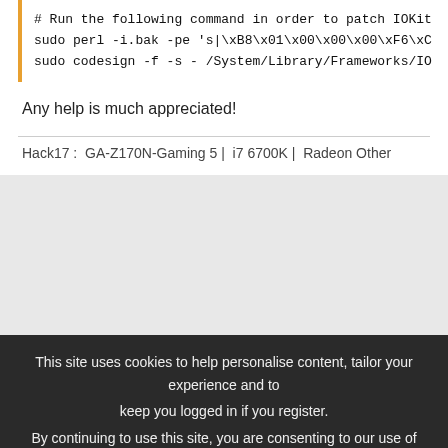# Run the following command in order to patch IOKit
sudo perl -i.bak -pe 's|\xB8\x01\x00\x00\x00\xF6\xC0...
sudo codesign -f -s - /System/Library/Frameworks/IO...
Any help is much appreciated!
Hack17 :  GA-Z170N-Gaming 5 |  i7 6700K |  Radeon Other
This site uses cookies to help personalise content, tailor your experience and to keep you logged in if you register.
By continuing to use this site, you are consenting to our use of cookies.
✓  Accept    Learn more...